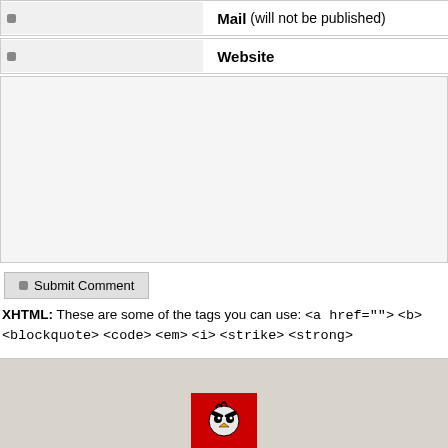Mail (will not be published)
Website
Submit Comment
XHTML: These are some of the tags you can use: <a href=""> <b> <blockquote> <code> <em> <i> <strike> <strong>
[Figure (illustration): Red square icon with angry bird/character illustration at the bottom footer area]